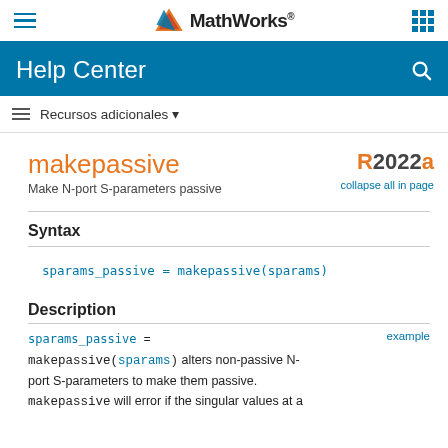MathWorks Help Center
Recursos adicionales
makepassive
Make N-port S-parameters passive
R2022a collapse all in page
Syntax
Description
sparams_passive = makepassive(sparams) alters non-passive N-port S-parameters to make them passive. makepassive will error if the singular values at a